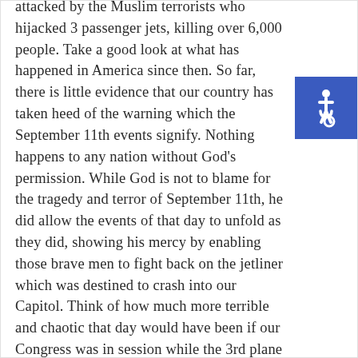attacked by the Muslim terrorists who hijacked 3 passenger jets, killing over 6,000 people. Take a good look at what has happened in America since then. So far, there is little evidence that our country has taken heed of the warning which the September 11th events signify. Nothing happens to any nation without God's permission. While God is not to blame for the tragedy and terror of September 11th, he did allow the events of that day to unfold as they did, showing his mercy by enabling those brave men to fight back on the jetliner which was destined to crash into our Capitol. Think of how much more terrible and chaotic that day would have been if our Congress was in session while the 3rd plane crashed into the Capitol Building.
[Figure (illustration): Accessibility symbol icon — white wheelchair figure on blue background square]